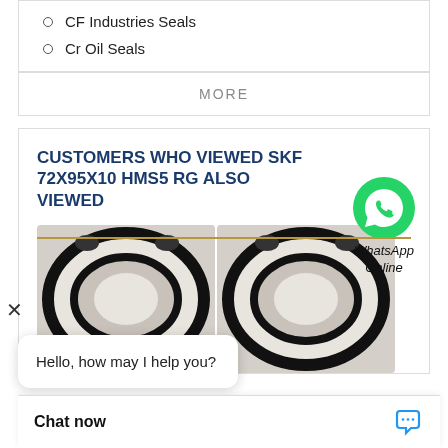CF Industries Seals
Cr Oil Seals
MORE
CUSTOMERS WHO VIEWED SKF 72X95X10 HMS5 RG ALSO VIEWED
[Figure (photo): Two SKF oil seal rings shown side by side]
WhatsApp Online
Hello, how may I help you?
Chat now